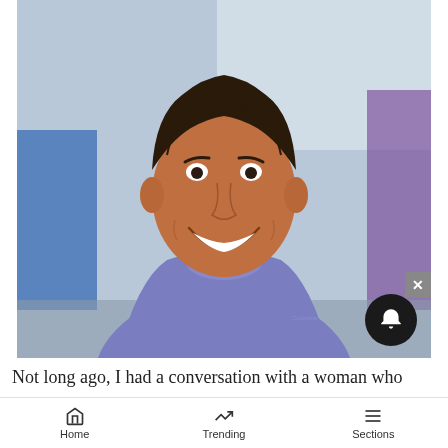[Figure (photo): Portrait photo of a smiling young man wearing a blue/purple athletic T-shirt, set in a gym or indoor sports facility background with blue and purple panels visible. A notification bell icon button and a close X button overlay the bottom-right corner of the image.]
Not long ago, I had a conversation with a woman who
Home   Trending   Sections